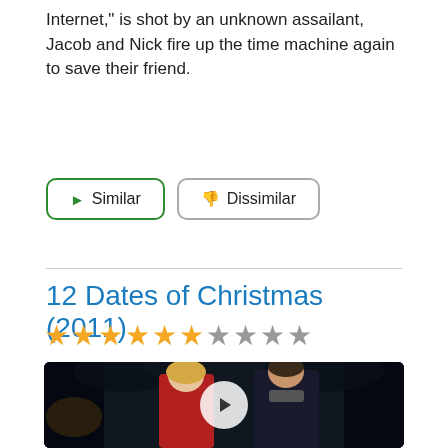Internet," is shot by an unknown assailant, Jacob and Nick fire up the time machine again to save their friend.
Similar
Dissimilar
12 Dates of Christmas (2011)
[Figure (other): Star rating: 6 out of 10 stars filled]
[Figure (photo): A woman in a red sweater and a man in a dark coat standing outdoors in a snowy winter night scene with a play button overlay.]